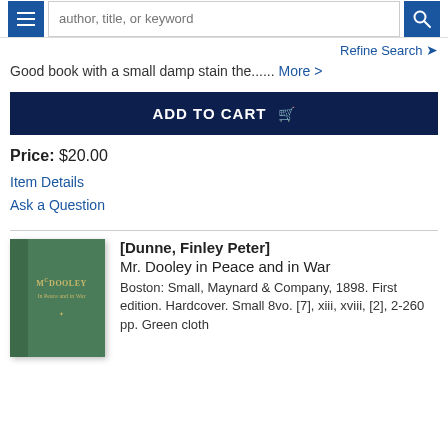author, title, or keyword
Refine Search
Good book with a small damp stain the...... More >
ADD TO CART
Price: $20.00
Item Details
Ask a Question
[Figure (photo): Green hardcover book titled McDooley in Peace and in War]
[Dunne, Finley Peter]
Mr. Dooley in Peace and in War
Boston: Small, Maynard & Company, 1898. First edition. Hardcover. Small 8vo. [7], xiii, xviii, [2], 2-260 pp. Green cloth